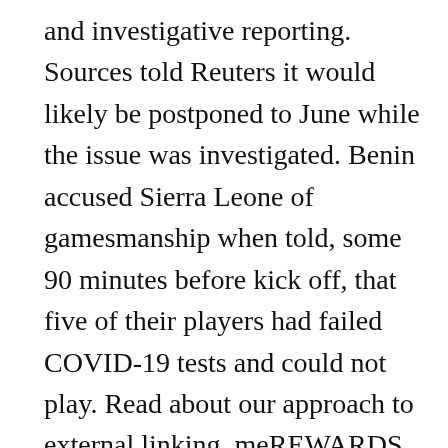and investigative reporting. Sources told Reuters it would likely be postponed to June while the issue was investigated. Benin accused Sierra Leone of gamesmanship when told, some 90 minutes before kick off, that five of their players had failed COVID-19 tests and could not play. Read about our approach to external linking. meREWARDS lets you get coupon deals, and earn cashback when you complete surveys, dine, travel and shop with our partners. Based on our detailed analysis of statistics listed below and other factors, we predicted both teams to not score in this game, under 2.5 goals, and a Sierra Leone home win. The match in Freetown was to settle a place at the 24-team Cup of Nations finals in Cameroon next